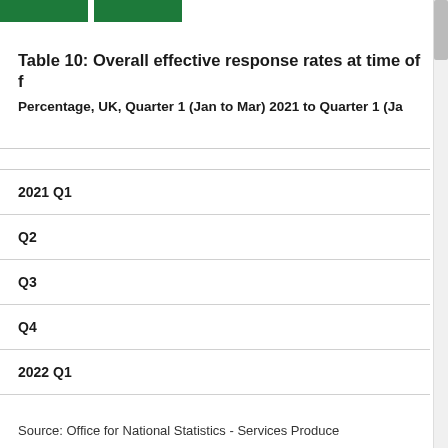Table 10: Overall effective response rates at time of f
Percentage, UK, Quarter 1 (Jan to Mar) 2021 to Quarter 1 (Ja
|  |
| --- |
| 2021 Q1 |
| Q2 |
| Q3 |
| Q4 |
| 2022 Q1 |
Source: Office for National Statistics - Services Produce